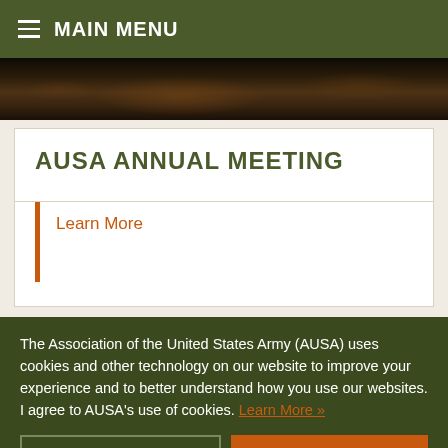MAIN MENU
[Figure (photo): Dark military-themed banner image with warm brown tones suggesting terrain or soldiers]
AUSA ANNUAL MEETING
Learn More
The Association of the United States Army (AUSA) uses cookies and other technology on our website to improve your experience and to better understand how you use our websites. I agree to AUSA's use of cookies. Learn More »
Decline
I Accept